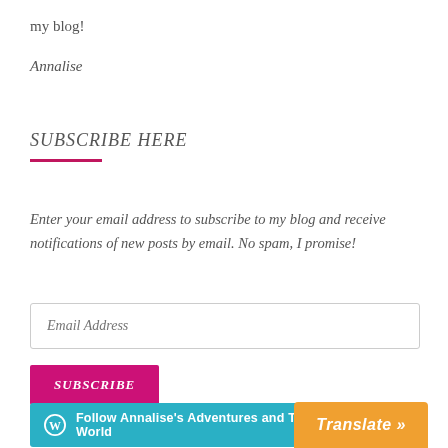my blog!
Annalise
SUBSCRIBE HERE
Enter your email address to subscribe to my blog and receive notifications of new posts by email. No spam, I promise!
Email Address
SUBSCRIBE
Follow Annalise's Adventures and Travels Around the World
Translate »